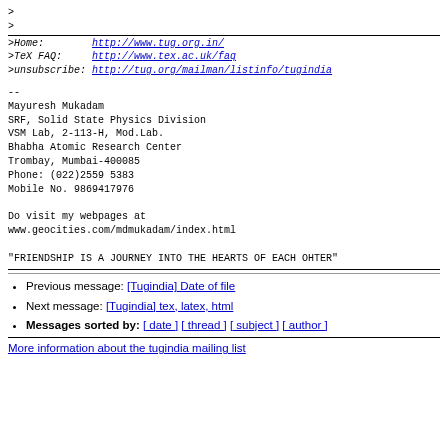>
>
>Home:        http://www.tug.org.in/
>TeX FAQ:     http://www.tex.ac.uk/faq
>unsubscribe: http://tug.org/mailman/listinfo/tugindia
--
Mayuresh Mukadam
SRF, Solid State Physics Division
VSM Lab, 2-113-H, Mod.Lab.
Bhabha Atomic Research Center
Trombay, Mumbai-400085
Phone: (022)2559 5383
Mobile No. 9869417976

Do visit my webpages at
www.geocities.com/mdmukadam/index.html

"FRIENDSHIP IS A JOURNEY INTO THE HEARTS OF EACH OHTER"
Previous message: [Tugindia] Date of file
Next message: [Tugindia] tex, latex, html
Messages sorted by: [ date ] [ thread ] [ subject ] [ author ]
More information about the tugindia mailing list